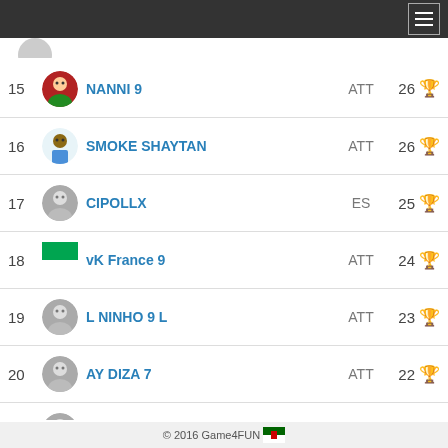15 NANNI 9 ATT 26
16 SMOKE SHAYTAN ATT 26
17 CIPOLLX ES 25
18 vK France 9 ATT 24
19 L NINHO 9 L ATT 23
20 AY DIZA 7 ATT 22
21 CLC DE GEA POR 22
22 XX RINOX92 XX ATT 22
© 2016 Game4FUN